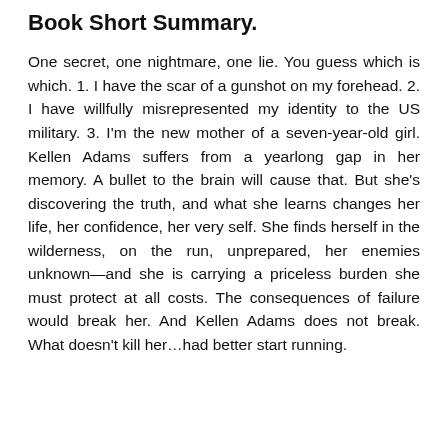Book Short Summary.
One secret, one nightmare, one lie. You guess which is which. 1. I have the scar of a gunshot on my forehead. 2. I have willfully misrepresented my identity to the US military. 3. I'm the new mother of a seven-year-old girl. Kellen Adams suffers from a yearlong gap in her memory. A bullet to the brain will cause that. But she's discovering the truth, and what she learns changes her life, her confidence, her very self. She finds herself in the wilderness, on the run, unprepared, her enemies unknown—and she is carrying a priceless burden she must protect at all costs. The consequences of failure would break her. And Kellen Adams does not break. What doesn't kill her...had better start running.